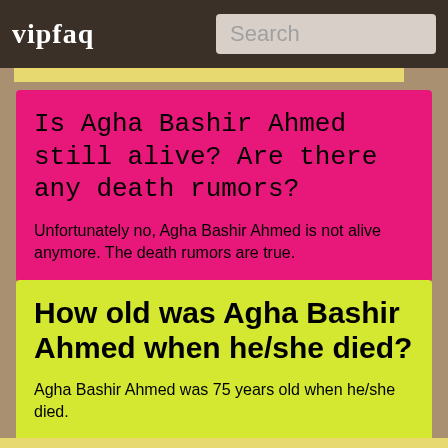vipfaq | Search
Is Agha Bashir Ahmed still alive? Are there any death rumors?
Unfortunately no, Agha Bashir Ahmed is not alive anymore. The death rumors are true.
How old was Agha Bashir Ahmed when he/she died?
Agha Bashir Ahmed was 75 years old when he/she died.